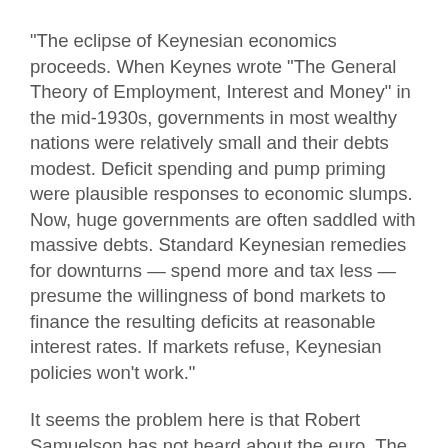"The eclipse of Keynesian economics proceeds. When Keynes wrote “The General Theory of Employment, Interest and Money” in the mid-1930s, governments in most wealthy nations were relatively small and their debts modest. Deficit spending and pump priming were plausible responses to economic slumps. Now, huge governments are often saddled with massive debts. Standard Keynesian remedies for downturns — spend more and tax less — presume the willingness of bond markets to finance the resulting deficits at reasonable interest rates. If markets refuse, Keynesian policies won’t work."
It seems the problem here is that Robert Samuelson has not heard about the euro. The countries he has identified as reaching a situation where they "lose control over their economy" are all on the euro. These are countries that do not issue their own currency. In this sense they are like Ohio and Texas. The